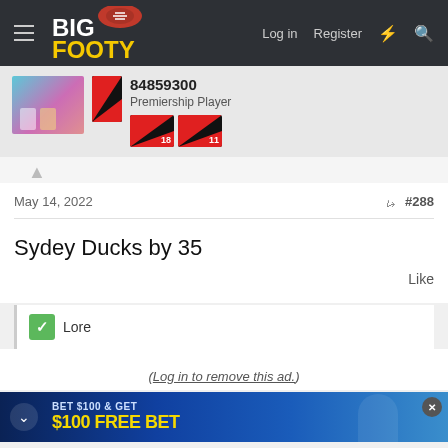BigFooty — Log in  Register
84859300
Premiership Player
May 14, 2022  #288
Sydey Ducks by 35
Like
✓ Lore
(Log in to remove this ad.)
[Figure (screenshot): Sports betting advertisement banner: BET $100 & GET $100 FREE BET]